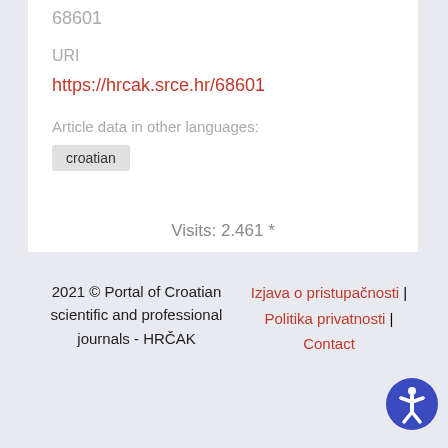68601
URI
https://hrcak.srce.hr/68601
Article data in other languages:
croatian
Visits: 2.461 *
2021 © Portal of Croatian scientific and professional journals - HRČAK  |  Izjava o pristupačnosti | Politika privatnosti | Contact